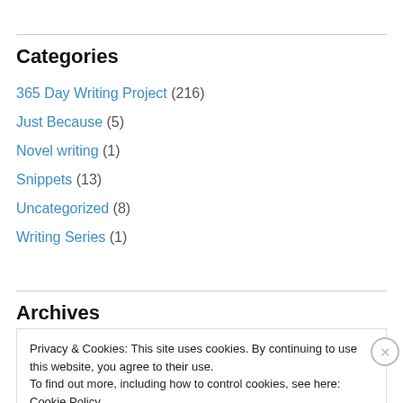Categories
365 Day Writing Project (216)
Just Because (5)
Novel writing (1)
Snippets (13)
Uncategorized (8)
Writing Series (1)
Archives
Privacy & Cookies: This site uses cookies. By continuing to use this website, you agree to their use.
To find out more, including how to control cookies, see here: Cookie Policy
Close and accept